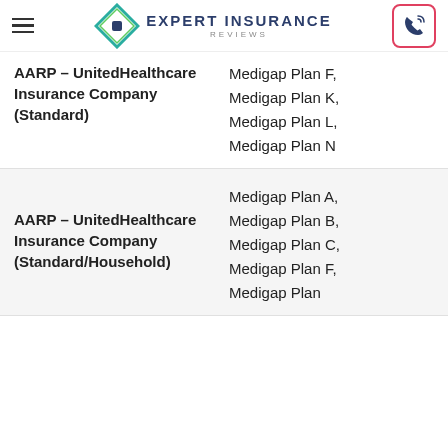Expert Insurance Reviews
| Company | Plans |
| --- | --- |
| AARP – UnitedHealthcare Insurance Company (Standard) | Medigap Plan F, Medigap Plan K, Medigap Plan L, Medigap Plan N |
| AARP – UnitedHealthcare Insurance Company (Standard/Household) | Medigap Plan A, Medigap Plan B, Medigap Plan C, Medigap Plan F, Medigap Plan |